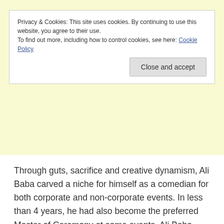Privacy & Cookies: This site uses cookies. By continuing to use this website, you agree to their use.
To find out more, including how to control cookies, see here: Cookie Policy
Close and accept
Through guts, sacrifice and creative dynamism, Ali Baba carved a niche for himself as a comedian for both corporate and non-corporate events. In less than 4 years, he had also become the preferred Master of Ceremony at some events. Ali Baba made the rules, broke them and sometimes even discarded them depending on how effective they were. These days no event is considered